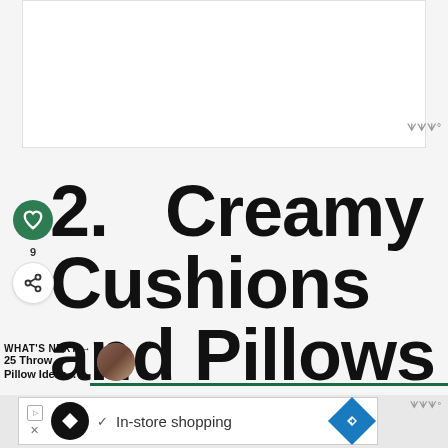[Figure (other): White rectangular image/ad area at the top of the page]
2.  Creamy Cushions and Pillows
WHAT'S NEXT → 25 Throw Pillow Ideas...
[Figure (other): Bottom advertisement banner with logo, checkmark, 'In-store shopping' text, and navigation icon]